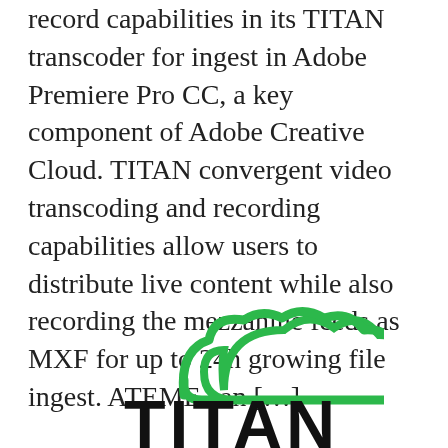record capabilities in its TITAN transcoder for ingest in Adobe Premiere Pro CC, a key component of Adobe Creative Cloud. TITAN convergent video transcoding and recording capabilities allow users to distribute live content while also recording the mezzanine feeds as MXF for up to 24h growing file ingest. ATEME can […]
[Figure (logo): TITAN logo: green cloud shape above bold black text 'TITAN', partially cropped at bottom of page]